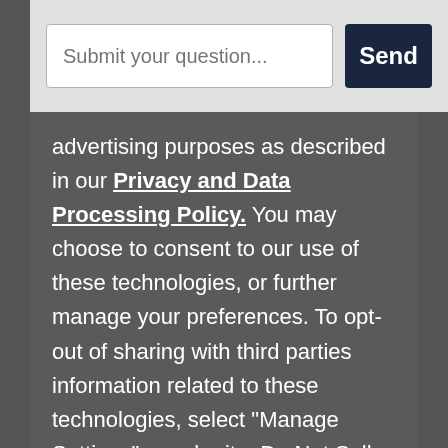[Figure (screenshot): Chat widget bar with text input placeholder 'Submit your question...' and a dark blue 'Send' button]
advertising purposes as described in our Privacy and Data Processing Policy. You may choose to consent to our use of these technologies, or further manage your preferences. To opt-out of sharing with third parties information related to these technologies, select "Manage Settings" or submit a Do Not Sell My Personal Information request.
MANAGE SETTINGS
ACCEPT RECOMMENDED